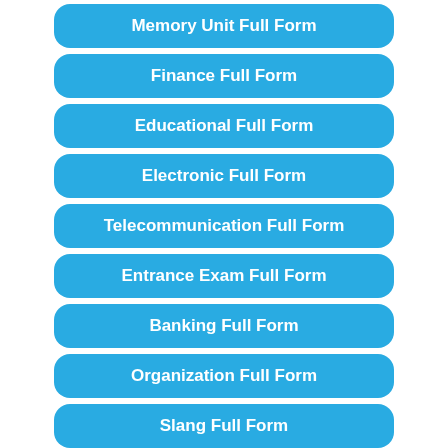Memory Unit Full Form
Finance Full Form
Educational Full Form
Electronic Full Form
Telecommunication Full Form
Entrance Exam Full Form
Banking Full Form
Organization Full Form
Slang Full Form